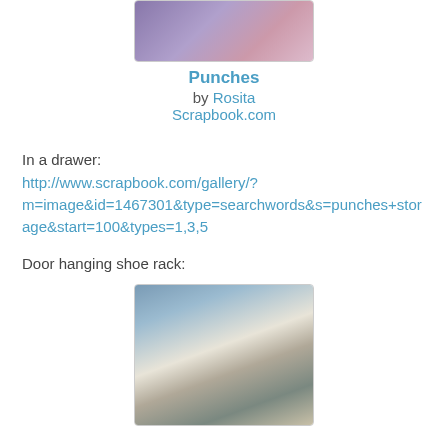[Figure (photo): Photo thumbnail of punches craft storage]
Punches
by Rosita
Scrapbook.com
In a drawer:
http://www.scrapbook.com/gallery/?m=image&id=1467301&type=searchwords&s=punches+storage&start=100&types=1,3,5
Door hanging shoe rack:
[Figure (photo): Photo of a door-hanging shoe rack used for craft storage]